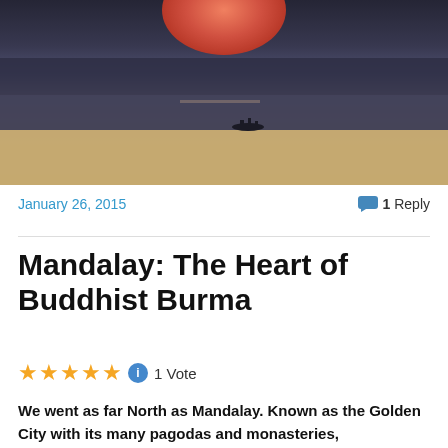[Figure (photo): Aerial/wide shot of a river scene at sunset with dark water, sandy banks, and a small boat silhouette in the middle distance. Pink/red sun visible at top.]
January 26, 2015
1 Reply
Mandalay: The Heart of Buddhist Burma
1 Vote
We went as far North as Mandalay. Known as the Golden City with its many pagodas and monasteries,